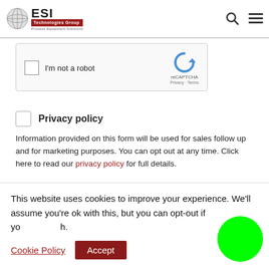[Figure (logo): ESI Technologies Group logo with globe icon]
[Figure (screenshot): reCAPTCHA widget with checkbox 'I'm not a robot']
Privacy policy
Information provided on this form will be used for sales follow up and for marketing purposes. You can opt out at any time. Click here to read our privacy policy for full details.
[Figure (screenshot): SUBMIT button (dark red background, white text)]
This website uses cookies to improve your experience. We'll assume you're ok with this, but you can opt-out if you wish.
Cookie Policy  Accept